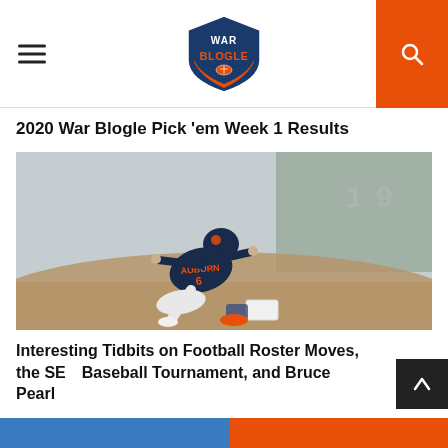War Blogle
2020 War Blogle Pick 'em Week 1 Results
[Figure (photo): Auburn baseball player number 6 sliding into base wearing Auburn uniform]
Interesting Tidbits on Football Roster Moves, the SEC Baseball Tournament, and Bruce Pearl